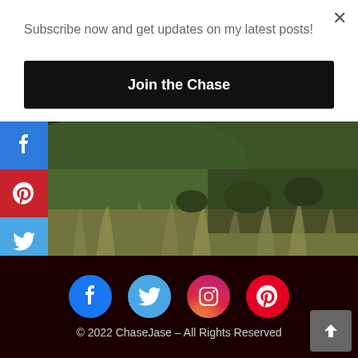Subscribe now and get updates on my latest posts!
Join the Chase
[Figure (photo): Landscape photo showing green hills with wild grasses and shrubs in the foreground, blurred background of hillside]
[Figure (infographic): Vertical social share sidebar with icons: Facebook (blue), Pinterest (red), Twitter (blue), WhatsApp (green), Messenger (blue)]
[Figure (infographic): Footer social icons row: Facebook (blue circle), Twitter (blue circle), Instagram (gradient circle), Pinterest (red circle)]
© 2022 ChaseJase – All Rights Reserved